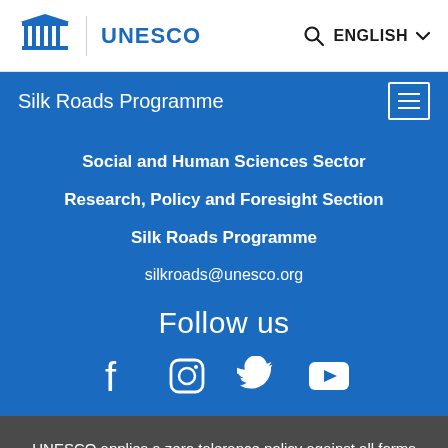UNESCO | ENGLISH
Silk Roads Programme
Social and Human Sciences Sector
Research, Policy and Foresight Section
Silk Roads Programme
silkroads@unesco.org
Follow us
[Figure (infographic): Social media icons: Facebook, Instagram, Twitter, YouTube]
UNESCO applies a zero tolerance policy against all forms of harassment